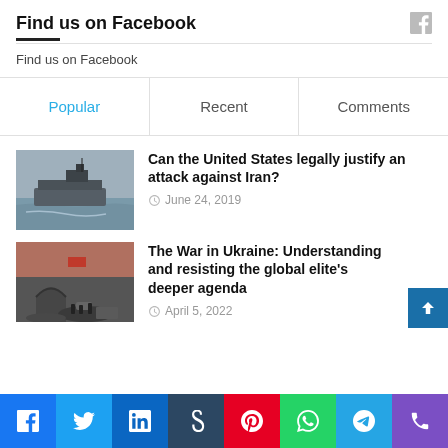Find us on Facebook
Find us on Facebook
Popular
Recent
Comments
[Figure (photo): Military aircraft carrier at sea]
Can the United States legally justify an attack against Iran?
June 24, 2019
[Figure (photo): War destruction scene with crowds of people]
The War in Ukraine: Understanding and resisting the global elite's deeper agenda
April 5, 2022